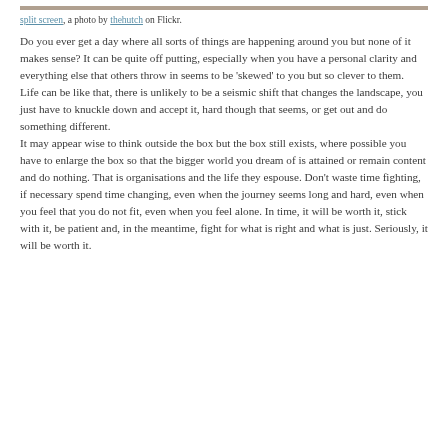[Figure (photo): Partial photo visible at top of page (split screen image)]
split screen, a photo by thehutch on Flickr.
Do you ever get a day where all sorts of things are happening around you but none of it makes sense? It can be quite off putting, especially when you have a personal clarity and everything else that others throw in seems to be ‘skewed’ to you but so clever to them.
Life can be like that, there is unlikely to be a seismic shift that changes the landscape, you just have to knuckle down and accept it, hard though that seems, or get out and do something different.
It may appear wise to think outside the box but the box still exists, where possible you have to enlarge the box so that the bigger world you dream of is attained or remain content and do nothing. That is organisations and the life they espouse. Don’t waste time fighting, if necessary spend time changing, even when the journey seems long and hard, even when you feel that you do not fit, even when you feel alone. In time, it will be worth it, stick with it, be patient and, in the meantime, fight for what is right and what is just. Seriously, it will be worth it.